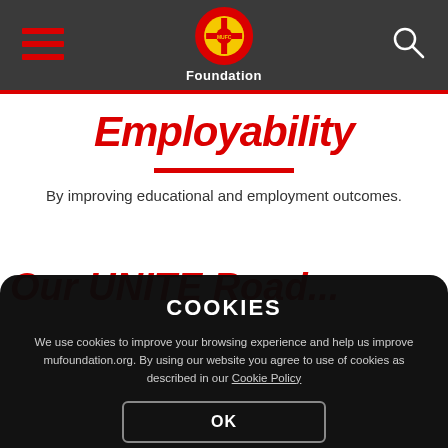Manchester United Foundation — Header with hamburger menu, crest logo, Foundation text, and search icon
Employability
By improving educational and employment outcomes.
COOKIES

We use cookies to improve your browsing experience and help us improve mufoundation.org. By using our website you agree to use of cookies as described in our Cookie Policy
OK